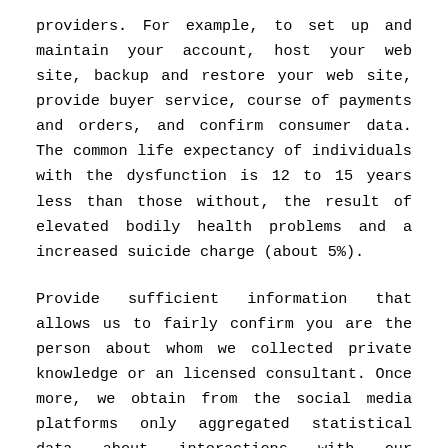providers. For example, to set up and maintain your account, host your web site, backup and restore your web site, provide buyer service, course of payments and orders, and confirm consumer data. The common life expectancy of individuals with the dysfunction is 12 to 15 years less than those without, the result of elevated bodily health problems and a increased suicide charge (about 5%).
Provide sufficient information that allows us to fairly confirm you are the person about whom we collected private knowledge or an licensed consultant. Once more, we obtain from the social media platforms only aggregated statistical data about interactions with our advertisements and paid content material, such as quantity of views, quantity of occasions shared and so on. Round